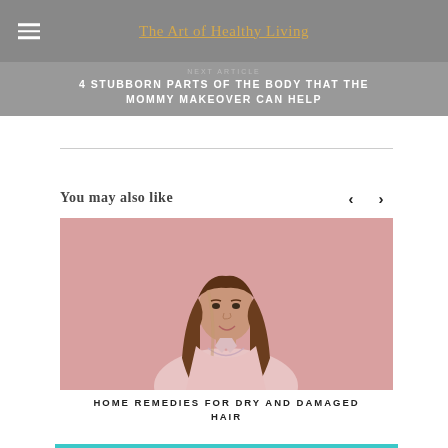The Art of Healthy Living
NEXT ARTICLE
4 STUBBORN PARTS OF THE BODY THAT THE MOMMY MAKEOVER CAN HELP
You may also like
[Figure (photo): Woman with long brown hair wearing a pink blouse, standing against a pink background, looking sideways]
HOME REMEDIES FOR DRY AND DAMAGED HAIR